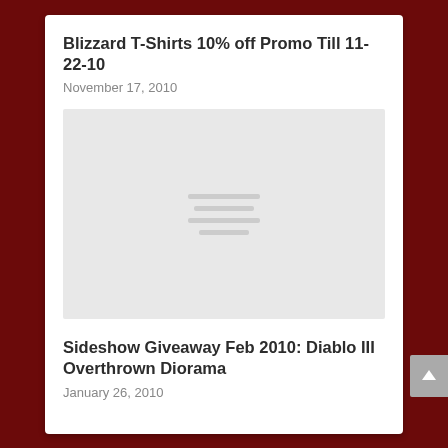Blizzard T-Shirts 10% off Promo Till 11-22-10
November 17, 2010
[Figure (photo): Image placeholder with light gray background and loading indicator lines]
Sideshow Giveaway Feb 2010: Diablo III Overthrown Diorama
January 26, 2010